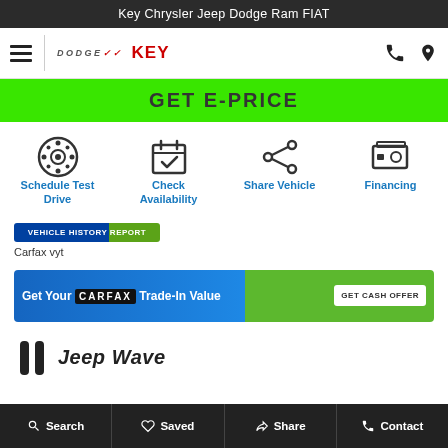Key Chrysler Jeep Dodge Ram FIAT
[Figure (logo): Hamburger menu icon, Dodge and Key dealership logo]
[Figure (screenshot): Phone and location icons in nav bar]
GET E-PRICE
[Figure (infographic): Four action icons: Schedule Test Drive (steering wheel), Check Availability (calendar), Share Vehicle (share icon), Financing (money/card icon)]
Schedule Test Drive
Check Availability
Share Vehicle
Financing
[Figure (logo): Carfax vehicle history badge/banner]
Carfax vyt
[Figure (infographic): Get Your CARFAX Trade-In Value banner with fox mascot and GET CASH OFFER button]
[Figure (logo): Jeep Wave partial logo and text visible at bottom]
Search  Saved  Share  Contact